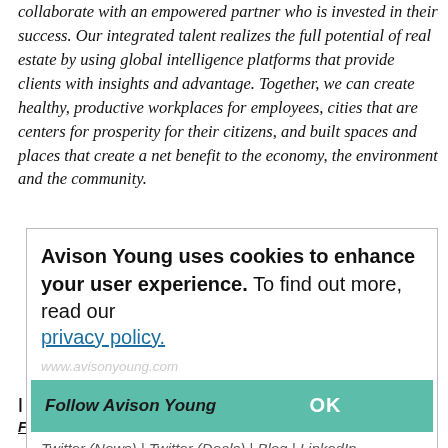collaborate with an empowered partner who is invested in their success. Our integrated talent realizes the full potential of real estate by using global intelligence platforms that provide clients with insights and advantage. Together, we can create healthy, productive workplaces for employees, cities that are centers for prosperity for their citizens, and built spaces and places that create a net benefit to the economy, the environment and the community.
Avison Young is a 2022 winner of the Canada's Best Managed Companies Platinum Club designation, having retained its Best Managed designation for 11 consecutive years.
Avison Young uses cookies to enhance your user experience. To find out more, read our privacy policy.
www.avisonyoung.com
Follow Avison Young   OK
Twitter (News) | Twitter (Deals) | Blog | LinkedIn
| YouTube | Instagram
For more information: